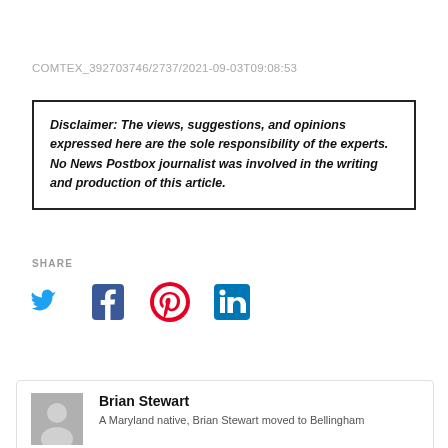COMTEX_392703746/2737/2021-09-03T09:08:53
Disclaimer: The views, suggestions, and opinions expressed here are the sole responsibility of the experts. No News Postbox journalist was involved in the writing and production of this article.
SHARE
[Figure (infographic): Social media share icons: Twitter (blue bird), Facebook (blue f), Pinterest (red P), LinkedIn (blue in)]
Brian Stewart
A Maryland native, Brian Stewart moved to Bellingham